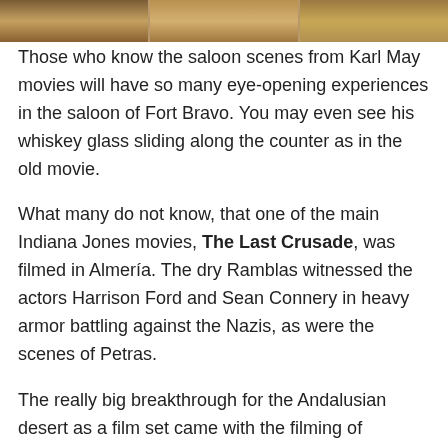[Figure (photo): Horizontal strip of three photo segments showing sandy/earthy desert textures at the top of the page]
Those who know the saloon scenes from Karl May movies will have so many eye-opening experiences in the saloon of Fort Bravo. You may even see his whiskey glass sliding along the counter as in the old movie.
What many do not know, that one of the main Indiana Jones movies, The Last Crusade, was filmed in Almería. The dry Ramblas witnessed the actors Harrison Ford and Sean Connery in heavy armor battling against the Nazis, as were the scenes of Petras.
The really big breakthrough for the Andalusian desert as a film set came with the filming of Lawrence of Arabia with Peter O'Toole.
This exotic desert landscape in the middle of Europe inspired many filmmakers who now have moved their projects to the parched lands of Andalusia.
To date, the lonely villages, hilltops and dusty desert landscapes of Tabernas are used as venues. Even